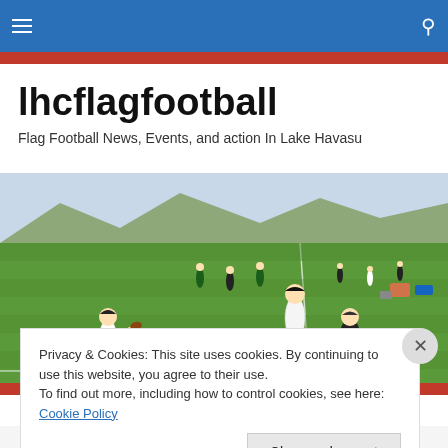lhcflagfootball – navigation bar
lhcflagfootball
Flag Football News, Events, and action In Lake Havasu
[Figure (photo): Flag football game being played on a green grass field in Lake Havasu; players in white and black uniforms running and passing on a sunny day.]
Privacy & Cookies: This site uses cookies. By continuing to use this website, you agree to their use.
To find out more, including how to control cookies, see here: Cookie Policy
Close and accept